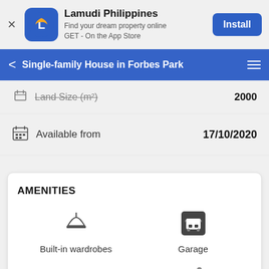[Figure (screenshot): Lamudi Philippines app install banner with logo, tagline, and Install button]
Single-family House in Forbes Park
Land Size (m²)  2000
Available from  17/10/2020
AMENITIES
Built-in wardrobes
Garage